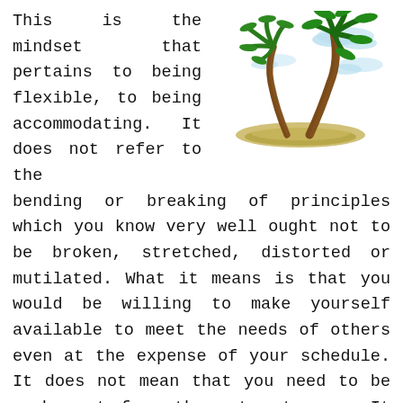This is the mindset that pertains to being flexible, to being accommodating. It does not refer to the bending or breaking of principles which you know very well ought not to be broken, stretched, distorted or mutilated. What it means is that you would be willing to make yourself available to meet the needs of others even at the expense of your schedule. It does not mean that you need to be a doormat for others to step on. It means that you recognize the fact that there are many others who are not at the same level of character development as yourself, and it helps you to demonstrate the
[Figure (illustration): Cartoon illustration of two palm trees on a small sandy island with clouds in the background]